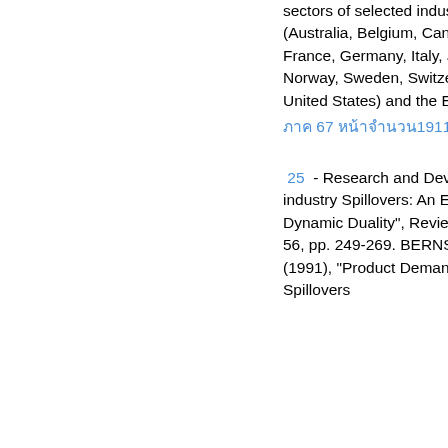sectors of selected industrialized countries (Australia, Belgium, Canada, Denmark, Finland, France, Germany, Italy, Japan, Netherlands, Norway, Sweden, Switzerland, United Kingdom, United States) and the European Union (EU).
ภาค 67 หน้าจำนวน1911-2007
‌ 25 ‌ - Research and Development and Intra-industry Spillovers: An Empirical Application of Dynamic Duality", Review of Economic Studies, 56, pp. 249-269. BERNSTEIN, JI and MI NADIRI (1991), "Product Demand, Cost of Production, Spillovers...